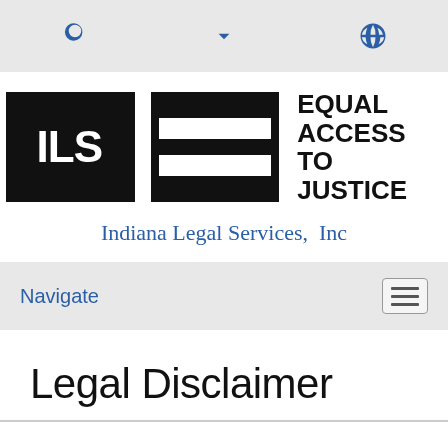navigation toolbar with search, dropdown, and globe icons
[Figure (logo): Indiana Legal Services logo: black box with white ILS text, black equal-sign bars, and text EQUAL ACCESS TO JUSTICE]
Indiana Legal Services, Inc
Navigate
Legal Disclaimer